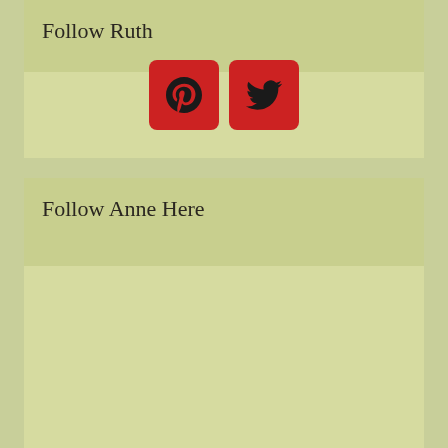Follow Ruth
[Figure (other): Pinterest and Twitter social media icon buttons (red rounded square buttons)]
Follow Anne Here